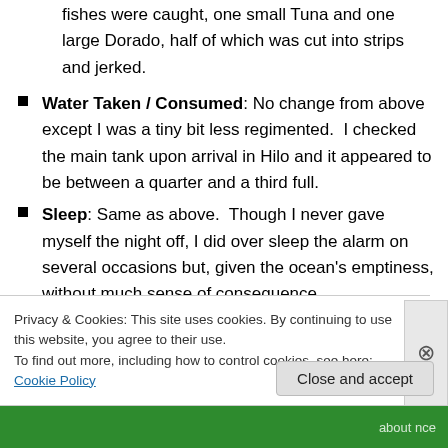fishes were caught, one small Tuna and one large Dorado, half of which was cut into strips and jerked.
Water Taken / Consumed: No change from above except I was a tiny bit less regimented.  I checked the main tank upon arrival in Hilo and it appeared to be between a quarter and a third full.
Sleep: Same as above.  Though I never gave myself the night off, I did over sleep the alarm on several occasions but, given the ocean's emptiness, without much sense of consequence.
Engine Use:  I motored for only two hours in the
Privacy & Cookies: This site uses cookies. By continuing to use this website, you agree to their use. To find out more, including how to control cookies, see here: Cookie Policy
Close and accept